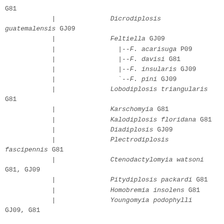G81
            |              Dicrodiplosis
guatemalensis GJ09
            |              Feltiella GJ09
            |                |--F. acarisuga P09
            |                |--F. davisi G81
            |                |--F. insularis GJ09
            |                `--F. pini GJ09
            |              Lobodiplosis triangularis
G81
            |              Karschomyia G81
            |              Kalodiplosis floridana G81
            |              Diadiplosis GJ09
            |              Plectrodiplosis
fascipennis G81
            |              Ctenodactylomyia watsoni
G81, GJ09
            |              Pitydiplosis packardi G81
            |              Homobremia insolens G81
            |              Youngomyia podophylli
GJ09, G81